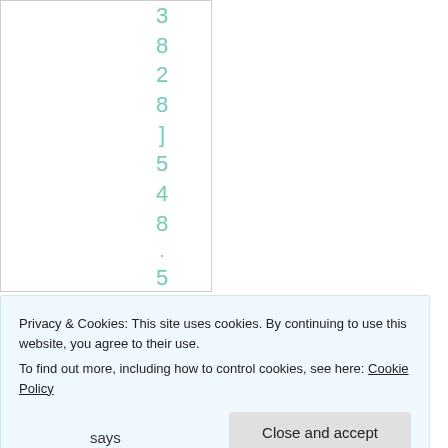[Figure (other): Vertical column of teal/mint colored digits reading: 3, 8, 2, 8, ], 5, 4, 8, ., 5, 0 — part of a code or number block visible on left side of page]
Privacy & Cookies: This site uses cookies. By continuing to use this website, you agree to their use.
To find out more, including how to control cookies, see here: Cookie Policy
Close and accept
says